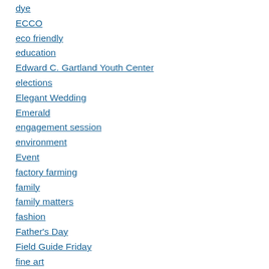dye
ECCO
eco friendly
education
Edward C. Gartland Youth Center
elections
Elegant Wedding
Emerald
engagement session
environment
Event
factory farming
family
family matters
fashion
Father's Day
Field Guide Friday
fine art